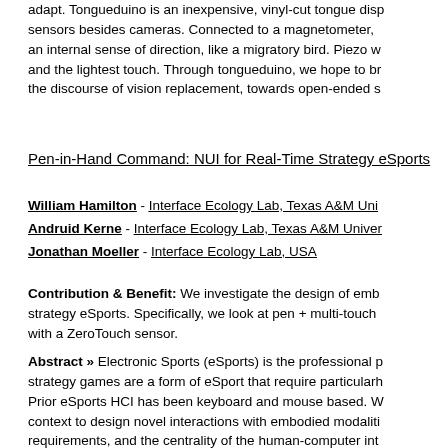adapt. Tongueduino is an inexpensive, vinyl-cut tongue disp sensors besides cameras. Connected to a magnetometer, an internal sense of direction, like a migratory bird. Piezo w and the lightest touch. Through tongueduino, we hope to br the discourse of vision replacement, towards open-ended s
Pen-in-Hand Command: NUI for Real-Time Strategy eSports
William Hamilton - Interface Ecology Lab, Texas A&M Uni
Andruid Kerne - Interface Ecology Lab, Texas A&M Univer
Jonathan Moeller - Interface Ecology Lab, USA
Contribution & Benefit: We investigate the design of emb strategy eSports. Specifically, we look at pen + multi-touch with a ZeroTouch sensor.
Abstract » Electronic Sports (eSports) is the professional p strategy games are a form of eSport that require particularh Prior eSports HCI has been keyboard and mouse based. W context to design novel interactions with embodied modaliti requirements, and the centrality of the human-computer int sense pen + multi-touch interaction, we augment a Wacom We used this modality to design new pen + touch interactio